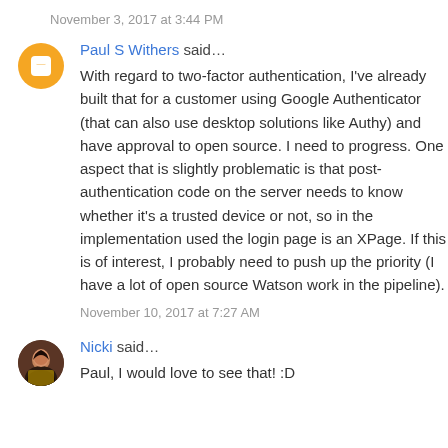November 3, 2017 at 3:44 PM
Paul S Withers said…
With regard to two-factor authentication, I've already built that for a customer using Google Authenticator (that can also use desktop solutions like Authy) and have approval to open source. I need to progress. One aspect that is slightly problematic is that post-authentication code on the server needs to know whether it's a trusted device or not, so in the implementation used the login page is an XPage. If this is of interest, I probably need to push up the priority (I have a lot of open source Watson work in the pipeline).
November 10, 2017 at 7:27 AM
Nicki said…
Paul, I would love to see that! :D